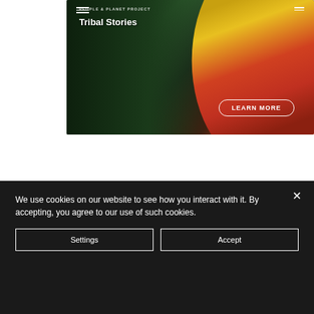[Figure (screenshot): Hero image showing a person with yellow and red tribal face paint in a forest setting, with 'People Planet Project - Tribal Stories' text and a 'LEARN MORE' button overlay]
We use cookies on our website to see how you interact with it. By accepting, you agree to our use of such cookies.
Settings
Accept